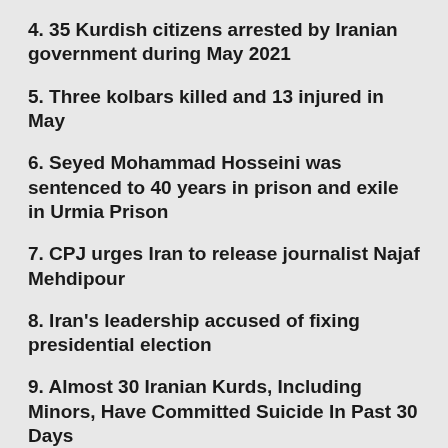4. 35 Kurdish citizens arrested by Iranian government during May 2021
5. Three kolbars killed and 13 injured in May
6. Seyed Mohammad Hosseini was sentenced to 40 years in prison and exile in Urmia Prison
7. CPJ urges Iran to release journalist Najaf Mehdipour
8. Iran's leadership accused of fixing presidential election
9. Almost 30 Iranian Kurds, Including Minors, Have Committed Suicide In Past 30 Days